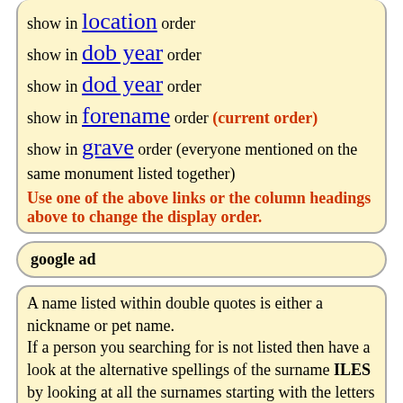show in location order
show in dob year order
show in dod year order
show in forename order (current order)
show in grave order (everyone mentioned on the same monument listed together)
Use one of the above links or the column headings above to change the display order.
google ad
A name listed within double quotes is either a nickname or pet name.
If a person you searching for is not listed then have a look at the alternative spellings of the surname ILES by looking at all the surnames starting with the letters I.
If that fails then use the Full Name Search